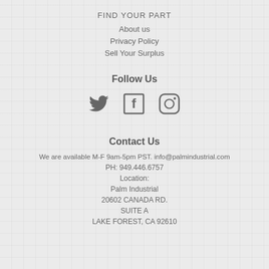FIND YOUR PART
About us
Privacy Policy
Sell Your Surplus
Follow Us
[Figure (illustration): Social media icons: Twitter bird icon, Facebook F icon, Instagram camera icon]
Contact Us
We are available M-F 9am-5pm PST. info@palmindustrial.com
PH: 949.446.6757
Location:
Palm Industrial
20602 CANADA RD.
SUITE A
LAKE FOREST, CA 92610